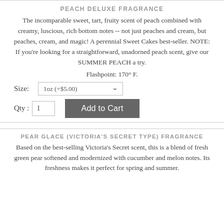PEACH DELUXE FRAGRANCE
The incomparable sweet, tart, fruity scent of peach combined with creamy, luscious, rich bottom notes -- not just peaches and cream, but peaches, cream, and magic! A perennial Sweet Cakes best-seller. NOTE: If you're looking for a straightforward, unadorned peach scent, give our SUMMER PEACH a try.
Flashpoint: 170° F.
Size: 1oz (+$5.00)
Qty: 1  Add to Cart
PEAR GLACE (VICTORIA'S SECRET TYPE) FRAGRANCE
Based on the best-selling Victoria's Secret scent, this is a blend of fresh green pear softened and modernized with cucumber and melon notes. Its freshness makes it perfect for spring and summer.